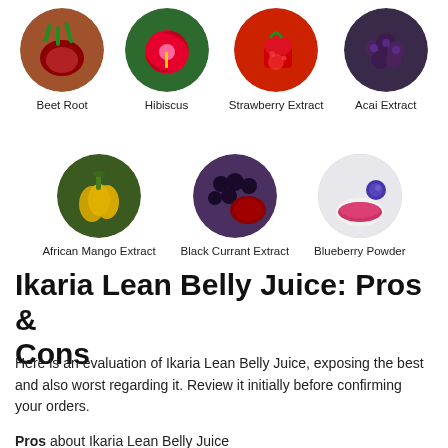[Figure (illustration): Row of four circular ingredient images: Beet Root, Hibiscus, Strawberry Extract, Acai Extract]
[Figure (illustration): Row of three circular ingredient images: African Mango Extract, Black Currant Extract, Blueberry Powder]
Ikaria Lean Belly Juice: Pros & Cons
Here is an evaluation of Ikaria Lean Belly Juice, exposing the best and also worst regarding it. Review it initially before confirming your orders.
Pros about Ikaria Lean Belly Juice